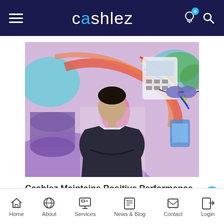cashlez
[Figure (photo): A man in a dark suit standing with arms crossed in front of a colorful graffiti-style mural featuring payment and technology themed illustrations. The Cashlez logo is visible in the mural.]
Cashlez Maintains Positive Performance in Pandemic Times
Home | About | Services | News & Blog | Contact | Login